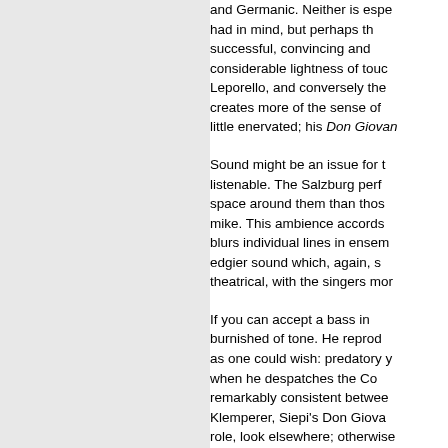and Germanic. Neither is especially what Giulini had in mind, but perhaps the Salzburg... successful, convincing and considerable lightness of touch... Leporello, and conversely the... creates more of the sense of a... little enervated; his Don Giovan... Sound might be an issue for those... listenable. The Salzburg perfo... space around them than those... mike. This ambience accords... blurs individual lines in ensem... edgier sound which, again, s... theatrical, with the singers mor... If you can accept a bass in... burnished of tone. He reprodu... as one could wish: predatory y... when he despatches the Co... remarkably consistent between... Klemperer, Siepi's Don Giovan... role, look elsewhere; otherwise... Both casts are as fine as coul... delight of the Metropolitan re...